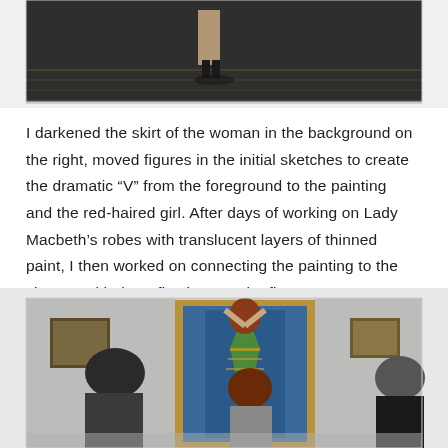[Figure (photo): Partial image cropped at top showing feet/legs of a figure standing on a dark floor with subtle gold/yellow horizontal lines, likely a museum or gallery painting detail.]
I darkened the skirt of the woman in the background on the right, moved figures in the initial sketches to create the dramatic “V” from the foreground to the painting and the red-haired girl. After days of working on Lady Macbeth’s robes with translucent layers of thinned paint, I then worked on connecting the painting to the viewers with the reflections on the floor.
[Figure (photo): Museum gallery scene showing visitors viewing a large Pre-Raphaelite style painting of Lady Macbeth in colorful blue and green robes with red hair, framed in ornate gold frame. Viewers seen from behind in the foreground.]